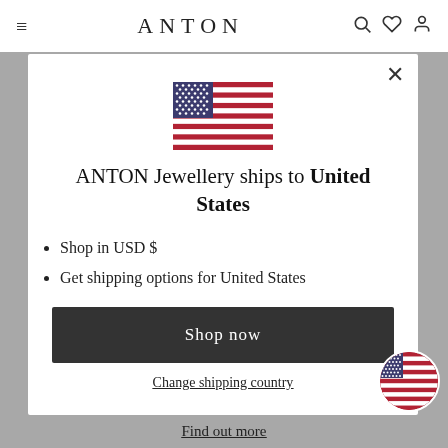ANTON
[Figure (illustration): US flag icon centered in modal]
ANTON Jewellery ships to United States
Shop in USD $
Get shipping options for United States
Shop now
Change shipping country
Find out more